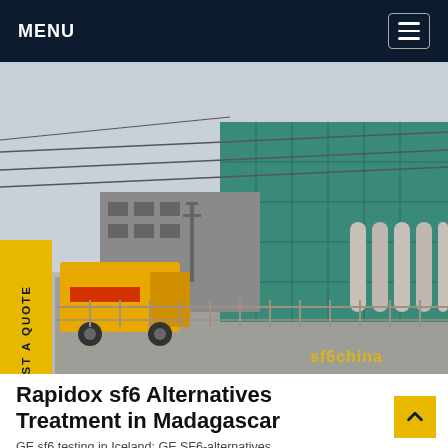MENU
[Figure (photo): Outdoor electrical substation or industrial facility with large green-glass building and cylindrical equipment. A yellow truck is parked on a road in the foreground. Power lines cross overhead. Watermark reads 'sf6china'.]
Rapidox sf6 Alternatives Treatment in Madagascar
GE sf6 testing in Iceland: GE SF6-alternatives